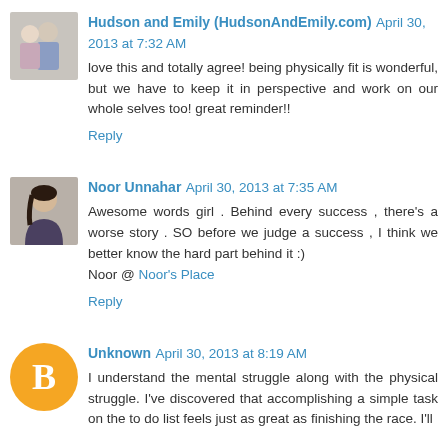[Figure (photo): Avatar photo of a couple (Hudson and Emily)]
Hudson and Emily (HudsonAndEmily.com)  April 30, 2013 at 7:32 AM
love this and totally agree! being physically fit is wonderful, but we have to keep it in perspective and work on our whole selves too! great reminder!!
Reply
[Figure (photo): Avatar photo of Noor Unnahar]
Noor Unnahar  April 30, 2013 at 7:35 AM
Awesome words girl . Behind every success , there's a worse story . SO before we judge a success , I think we better know the hard part behind it :)
Noor @ Noor's Place
Reply
[Figure (logo): Blogger default avatar icon (orange circle with B)]
Unknown  April 30, 2013 at 8:19 AM
I understand the mental struggle along with the physical struggle. I've discovered that accomplishing a simple task on the to do list feels just as great as finishing the race. I'll